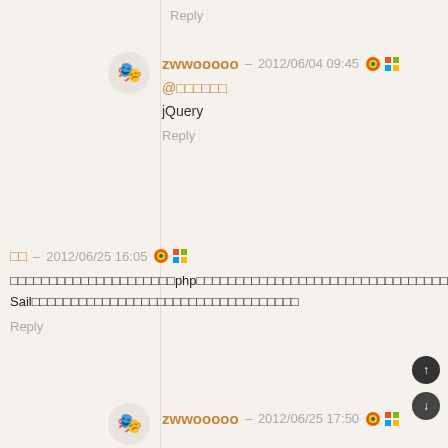Reply
zwwooooo – 2012/06/04 09:45
@
jQuery
Reply
– 2012/06/25 16:05
php　　　　　　　　　　　　　　　　seo　php　　　　　　　　　　　　　　　　　　　　　　　　　　　　　　　　0　　　　　　　　Weisay Sail
Reply
zwwooooo – 2012/06/25 17:50